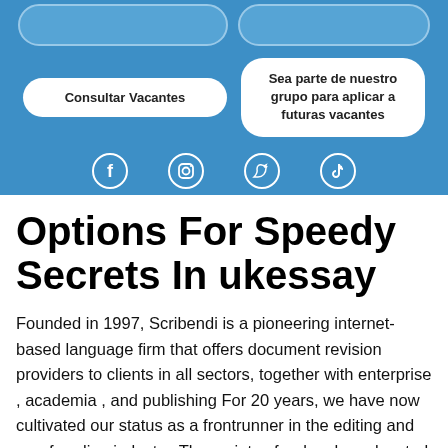[Figure (screenshot): Blue header section with two pill-shaped buttons at top (partially visible), two white rounded buttons ('Consultar Vacantes' and 'Sea parte de nuestro grupo para aplicar a futuras vacantes'), and four social media icons (Facebook, Instagram, Twitter, TikTok)]
Options For Speedy Secrets In ukessay
Founded in 1997, Scribendi is a pioneering internet-based language firm that offers document revision providers to clients in all sectors, together with enterprise , academia , and publishing For 20 years, we have now cultivated our status as a frontrunner in the editing and proofreading industry. The variety of orders has elevated a lot prior to now year, however so has the variety of editors, and quite drastically. Because of this, there are times restricted recordsdata to work on throughout months that we